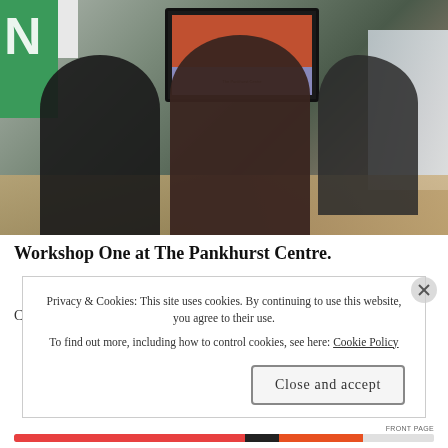[Figure (photo): Workshop scene at The Pankhurst Centre: three people in a room, two seated with laptops, one presenting/gesturing near a window. A TV screen on the wall shows a building image. A green and white banner visible top-left with letter N.]
Workshop One at The Pankhurst Centre.
Privacy & Cookies: This site uses cookies. By continuing to use this website, you agree to their use.
To find out more, including how to control cookies, see here: Cookie Policy
Close and accept